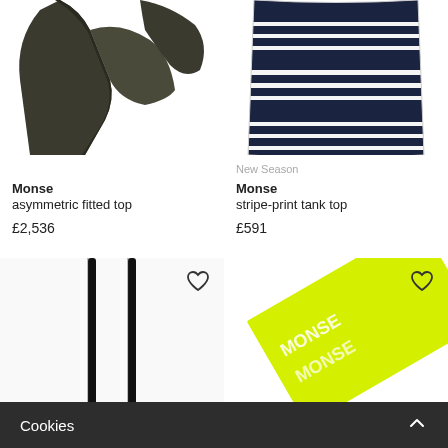[Figure (photo): Monse asymmetric fitted top in dark olive/black, shown partially cropped from above]
[Figure (photo): Monse stripe-print tank top in navy and white horizontal stripes, shown from above]
Monse
asymmetric fitted top
£2,536
New Season
Monse
stripe-print tank top
£591
[Figure (photo): Black thin strap garment top shown from above on white background]
[Figure (photo): Neon yellow/lime Monse branded fabric item with MONSE text logo visible]
Cookies